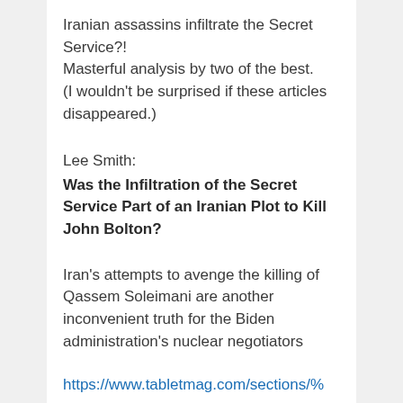Iranian assassins infiltrate the Secret Service?!
Masterful analysis by two of the best.
(I wouldn't be surprised if these articles disappeared.)
Lee Smith:
Was the Infiltration of the Secret Service Part of an Iranian Plot to Kill John Bolton?
Iran's attempts to avenge the killing of Qassem Soleimani are another inconvenient truth for the Biden administration's nuclear negotiators
https://www.tabletmag.com/sections/%